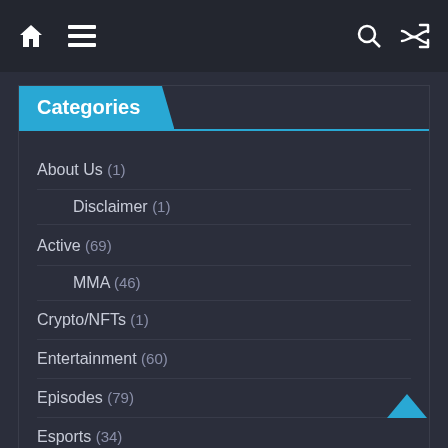Navigation bar with home, menu, search, and shuffle icons
Categories
About Us (1)
Disclaimer (1)
Active (69)
MMA (46)
Crypto/NFTs (1)
Entertainment (60)
Episodes (79)
Esports (34)
First Look (129)
App (72)